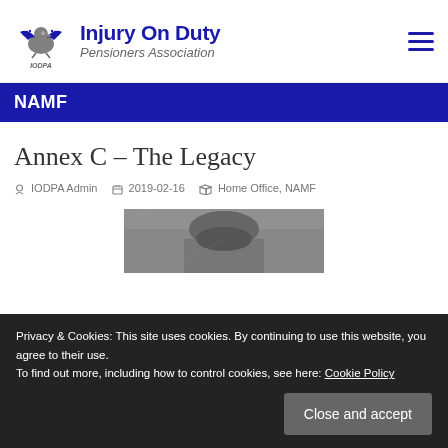Injury On Duty Pensioners Association
NAMF
Annex C – The Legacy
IODPA Admin  2019-02-16  Home Office, NAMF
[Figure (photo): Black and white photograph, partially visible, showing a person or scene related to the article.]
Privacy & Cookies: This site uses cookies. By continuing to use this website, you agree to their use.
To find out more, including how to control cookies, see here: Cookie Policy
Close and accept